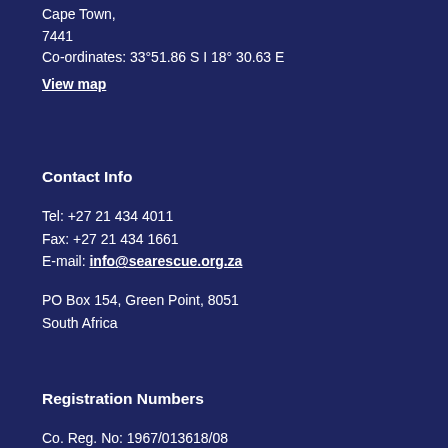Cape Town,
7441
Co-ordinates: 33°51.86 S I 18° 30.63 E
View map
Contact Info
Tel: +27 21 434 4011
Fax: +27 21 434 1661
E-mail: info@searescue.org.za
PO Box 154, Green Point, 8051
South Africa
Registration Numbers
Co. Reg. No: 1967/013618/08